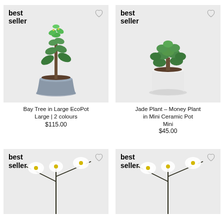[Figure (photo): Bay Tree in a large grey EcoPot with saucer, tall slender plant with dark green leaves, best seller badge top left, heart icon top right, light grey background]
Bay Tree in Large EcoPot
Large | 2 colours
$115.00
[Figure (photo): Jade Plant – Money Plant in a mini white ceramic pot with saucer, compact bushy succulent, best seller badge top left, heart icon top right, light grey background]
Jade Plant – Money Plant
in Mini Ceramic Pot
Mini
$45.00
[Figure (photo): White orchid flower with branching stem on thin dark stake, best seller badge top left, heart icon top right, light grey background, partially visible (cropped)]
[Figure (photo): White orchid flower with branching stem on thin dark stake, best seller badge top left, heart icon top right, light grey background, partially visible (cropped)]